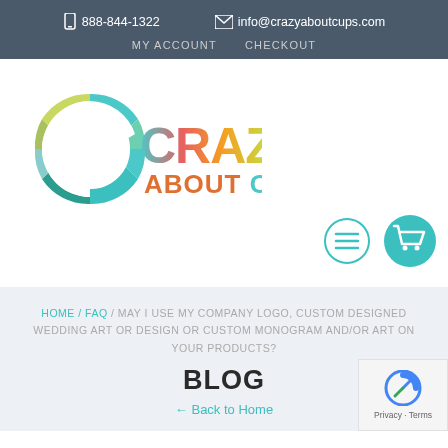888-844-1322  info@crazyaboutcups.com  MY ACCOUNT  CHECKOUT
[Figure (logo): Crazy About Cups colorful logo with circular C and multicolor text]
[Figure (infographic): Menu hamburger icon (teal circle outline) and shopping cart icon (teal filled circle) buttons]
HOME / FAQ / MAY I USE MY COMPANY LOGO, CUSTOM DESIGNED WEDDING ART OR DESIGN OR CUSTOM MONOGRAM AND/OR ART ON YOUR PRODUCTS?
BLOG
← Back to Home